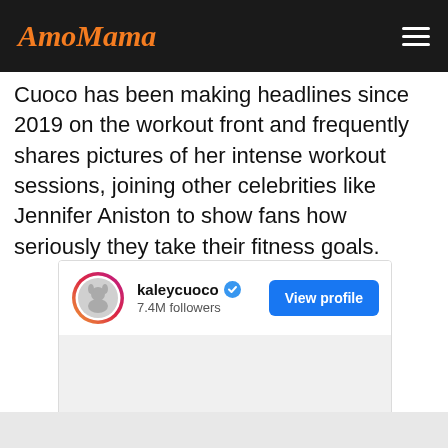AmoMama
Cuoco has been making headlines since 2019 on the workout front and frequently shares pictures of her intense workout sessions, joining other celebrities like Jennifer Aniston to show fans how seriously they take their fitness goals.
[Figure (screenshot): Instagram profile embed card for kaleycuoco showing 7.4M followers with a 'View profile' button in blue]